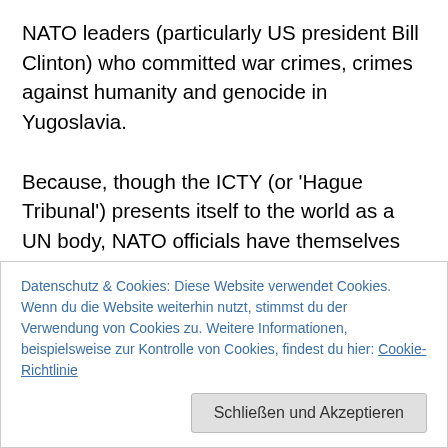NATO leaders (particularly US president Bill Clinton) who committed war crimes, crimes against humanity and genocide in Yugoslavia. Because, though the ICTY (or 'Hague Tribunal') presents itself to the world as a UN body, NATO officials have themselves made clear, in public, that it really belongs to NATO. NATO appointed the prosecutors, and the judges who ruled out investigating any war crimes accusations against NATO. It follows that Slobodan Milosevic, who was a prisoner of the Hague Tribunal's Scheveningen prison when he died, was a prisoner of NATO. NATO had both
Datenschutz & Cookies: Diese Website verwendet Cookies. Wenn du die Website weiterhin nutzt, stimmst du der Verwendung von Cookies zu. Weitere Informationen, beispielsweise zur Kontrolle von Cookies, findest du hier: Cookie-Richtlinie